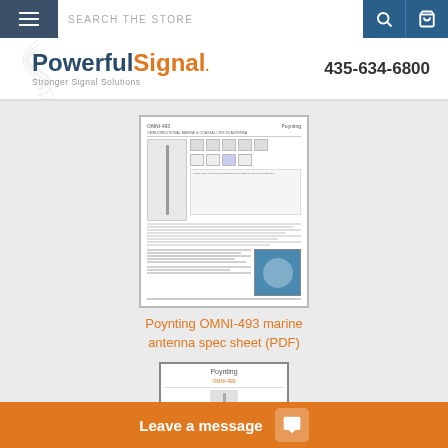SEARCH THE STORE
[Figure (logo): PowerfulSignal logo with 'Stronger Signal Solutions' tagline and phone number 435-634-6800]
[Figure (screenshot): Thumbnail of Poynting OMNI-493 marine antenna spec sheet PDF]
Poynting OMNI-493 marine antenna spec sheet (PDF)
[Figure (screenshot): Thumbnail of second Poynting OMNI-493 document]
Leave a message